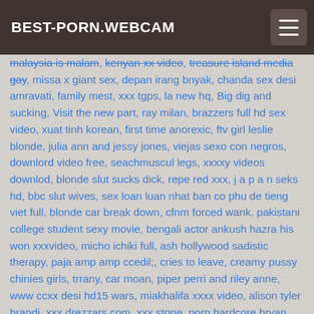BEST-PORN.WEBCAM
malaysia is malam, kenyan xx video, treasure island media gay, missa x giant sex, depan irang bnyak, chanda sex desi amravati, family mest, xxx tgps, la new hq, Big dig and sucking, Visit the new part, ray milan, brazzers full hd sex video, xuat tinh korean, first time anorexic, ftv girl leslie blonde, julia ann and jessy jones, viejas sexo con negros, downlord video free, seachmuscul legs, xxxxy videos downlod, blonde slut sucks dick, repe red xxx, j a p a n seks hd, bbc slut wives, sex loan luan nhat ban co phu de tieng viet full, blonde car break down, cfnm forced wank, pakistani college student sexy movie, bengali actor ankush hazra his won xxxvideo, micho ichiki full, ash hollywood sadistic therapy, paja amp amp ccedil;, cries to leave, creamy pussy chinies girls, trrany, car moan, piper perri and riley anne, www ccxx desi hd15 wars, miakhalifa xxxx video, alison tyler brandi, xxx drezzars com, xxx stone, porn hardcore bryan, sunny fuck room, порно зрелых